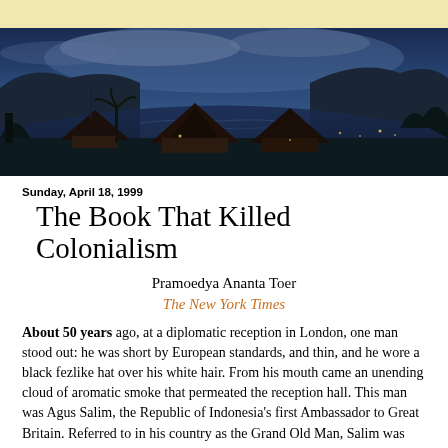[Figure (photo): Panoramic twilight/dusk photograph of traditional Indonesian buildings with pointed roofs beside a large lake or bay, surrounded by hills and trees, with dramatic cloudy sky.]
Sunday, April 18, 1999
The Book That Killed Colonialism
Pramoedya Ananta Toer
The New York Times
About 50 years ago, at a diplomatic reception in London, one man stood out: he was short by European standards, and thin, and he wore a black fezlike hat over his white hair. From his mouth came an unending cloud of aromatic smoke that permeated the reception hall. This man was Agus Salim, the Republic of Indonesia's first Ambassador to Great Britain. Referred to in his country as the Grand Old Man, Salim was